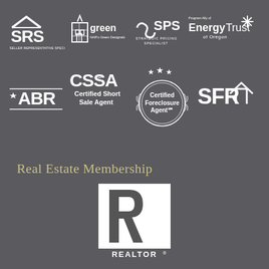[Figure (logo): SRS Seller Representative Specialist logo]
[Figure (logo): NAR Green Designation logo]
[Figure (logo): SPS Strategic Pricing Specialist logo]
[Figure (logo): Energy Trust of Oregon Program Ally logo]
[Figure (logo): ABR logo]
[Figure (logo): CSSA Certified Short Sale Agent logo]
[Figure (logo): Certified Foreclosure Agent logo]
[Figure (logo): SFR logo]
Real Estate Membership
[Figure (logo): REALTOR logo]